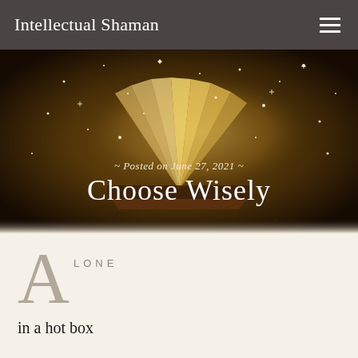Intellectual Shaman
[Figure (illustration): Hero image of an open book with golden magical sparkles and light emanating from it, dark warm background. Overlaid text reads 'Posted on June 27, 2021' and 'Choose Wisely']
Posted on June 27, 2021
Choose Wisely
A LONE
in a hot box
where I was